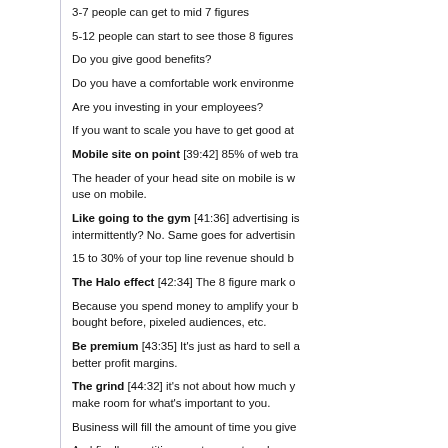3-7 people can get to mid 7 figures
5-12 people can start to see those 8 figures
Do you give good benefits?
Do you have a comfortable work environment?
Are you investing in your employees?
If you want to scale you have to get good at
Mobile site on point [39:42] 85% of web tr
The header of your head site on mobile is w use on mobile.
Like going to the gym [41:36] advertising is intermittently? No. Same goes for advertisin
15 to 30% of your top line revenue should b
The Halo effect [42:34] The 8 figure mark o
Because you spend money to amplify your b bought before, pixeled audiences, etc.
Be premium [43:35] It's just as hard to sell a better profit margins.
The grind [44:32] it's not about how much y make room for what's important to you.
Business will fill the amount of time you give
And finally repetition creates mastery: be co
Thanks for listening!